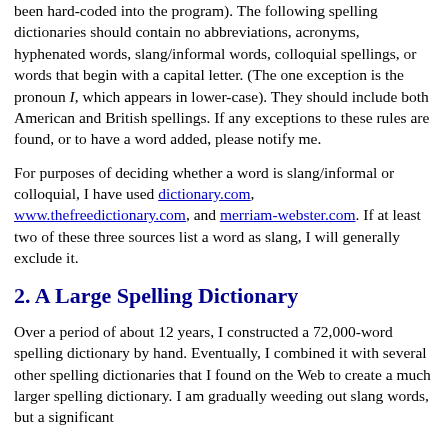been hard-coded into the program). The following spelling dictionaries should contain no abbreviations, acronyms, hyphenated words, slang/informal words, colloquial spellings, or words that begin with a capital letter. (The one exception is the pronoun I, which appears in lower-case). They should include both American and British spellings. If any exceptions to these rules are found, or to have a word added, please notify me.
For purposes of deciding whether a word is slang/informal or colloquial, I have used dictionary.com, www.thefreedictionary.com, and merriam-webster.com. If at least two of these three sources list a word as slang, I will generally exclude it.
2. A Large Spelling Dictionary
Over a period of about 12 years, I constructed a 72,000-word spelling dictionary by hand. Eventually, I combined it with several other spelling dictionaries that I found on the Web to create a much larger spelling dictionary. I am gradually weeding out slang words, but a significant